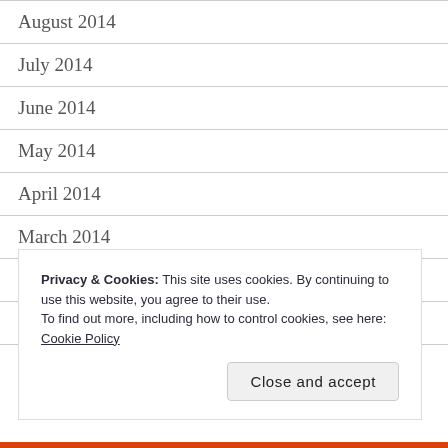August 2014
July 2014
June 2014
May 2014
April 2014
March 2014
February 2014
January 2014
December 2013
Privacy & Cookies: This site uses cookies. By continuing to use this website, you agree to their use.
To find out more, including how to control cookies, see here:
Cookie Policy
Close and accept